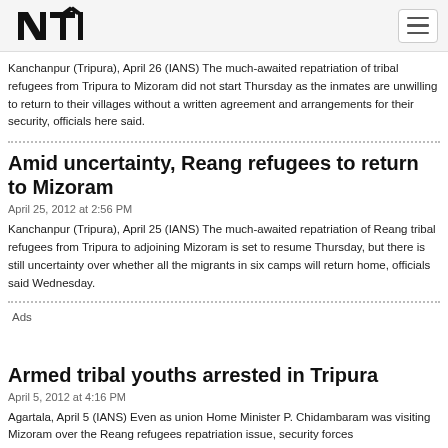NTI logo and navigation
Kanchanpur (Tripura), April 26 (IANS) The much-awaited repatriation of tribal refugees from Tripura to Mizoram did not start Thursday as the inmates are unwilling to return to their villages without a written agreement and arrangements for their security, officials here said.
Amid uncertainty, Reang refugees to return to Mizoram
April 25, 2012 at 2:56 PM
Kanchanpur (Tripura), April 25 (IANS) The much-awaited repatriation of Reang tribal refugees from Tripura to adjoining Mizoram is set to resume Thursday, but there is still uncertainty over whether all the migrants in six camps will return home, officials said Wednesday.
Ads
Armed tribal youths arrested in Tripura
April 5, 2012 at 4:16 PM
Agartala, April 5 (IANS) Even as union Home Minister P. Chidambaram was visiting Mizoram over the Reang refugees repatriation issue, security forces